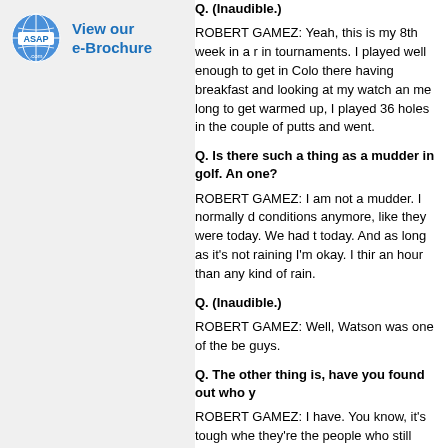[Figure (logo): ASAP.com globe logo with 'View our e-Brochure' link text in blue]
Q. (Inaudible.)
ROBERT GAMEZ: Yeah, this is my 8th week in a r in tournaments. I played well enough to get in Colo there having breakfast and looking at my watch an me long to get warmed up, I played 36 holes in the couple of putts and went.
Q. Is there such a thing as a mudder in golf. An one?
ROBERT GAMEZ: I am not a mudder. I normally d conditions anymore, like they were today. We had t today. And as long as it's not raining I'm okay. I thir an hour than any kind of rain.
Q. (Inaudible.)
ROBERT GAMEZ: Well, Watson was one of the be guys.
Q. The other thing is, have you found out who y
ROBERT GAMEZ: I have. You know, it's tough whe they're the people who still called you when you we before, but over the last two or three years we've p He's a good guy, and people like that. John Daly is help and been there for me.
Q. You have an unusual routine when you're pu and the second time you return your eyes to th
ROBERT GAMEZ: I've been doing that -- I started Palm Springs, I went to see Bob Rotella and he go I was watching the putter go back as I was making moving this way, as I was trying to hit the putts, an before my head starts coming back to the hole. Tha not watching it. My blade is coming through when n